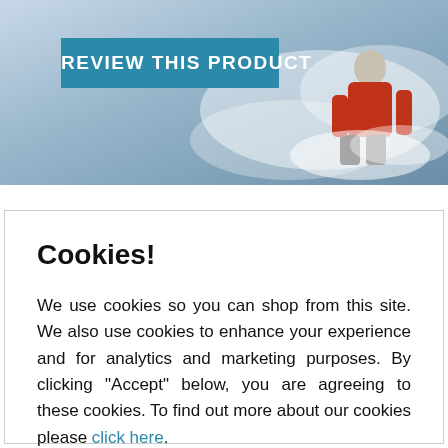[Figure (screenshot): Top banner with snowy outdoor action scene background and a teal 'REVIEW THIS PRODUCT' button overlay]
Cookies!
We use cookies so you can shop from this site. We also use cookies to enhance your experience and for analytics and marketing purposes. By clicking "Accept" below, you are agreeing to these cookies. To find out more about our cookies please click here.
ACCEPT
DECLINE